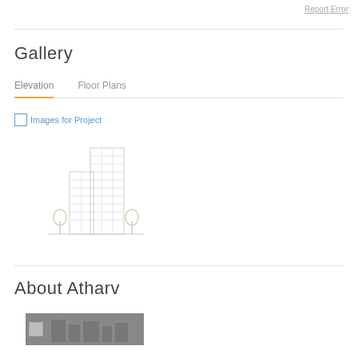Report Error
Gallery
Elevation   Floor Plans
Images for Project
[Figure (illustration): Building elevation illustration showing a multi-storey building with trees on either side, rendered in light grey outline style]
About Atharv
[Figure (photo): Thumbnail image placeholder showing a building photo, partially visible, with grey background]